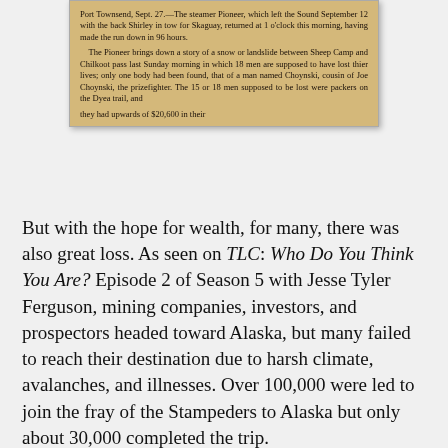[Figure (photo): Clipped newspaper article on aged paper. Dateline: Port Townsend, Sept. 27. Reports the steamer Pioneer returning after leaving Sound Sept. 12 with barge Shirley in tow for Skaguay, made the run down in 96 hours. Reports a story of a snow or landslide between Sheep Camp and Chilkoot pass last Sunday morning in which 18 men are supposed to have lost their lives; only one body had been found, that of a man named Choynski, cousin of Joe Choynski, the prizefighter. The 15 or 18 men supposed to be lost were packers on the Dyea trail, and text is cut off.]
But with the hope for wealth, for many, there was also great loss. As seen on TLC: Who Do You Think You Are? Episode 2 of Season 5 with Jesse Tyler Ferguson, mining companies, investors, and prospectors headed toward Alaska, but many failed to reach their destination due to harsh climate, avalanches, and illnesses. Over 100,000 were led to join the fray of the Stampeders to Alaska but only about 30,000 completed the trip.
The climate, however, was not the only contributor to the